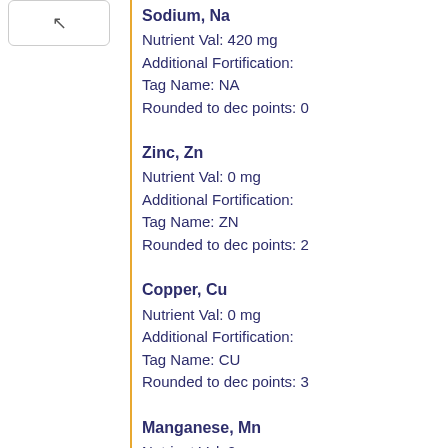Sodium, Na
Nutrient Val: 420 mg
Additional Fortification:
Tag Name: NA
Rounded to dec points: 0
Zinc, Zn
Nutrient Val: 0 mg
Additional Fortification:
Tag Name: ZN
Rounded to dec points: 2
Copper, Cu
Nutrient Val: 0 mg
Additional Fortification:
Tag Name: CU
Rounded to dec points: 3
Manganese, Mn
Nutrient Val: 0 mg
Additional Fortification:
Tag Name: MN
Rounded to dec points: 3
Selenium, Se